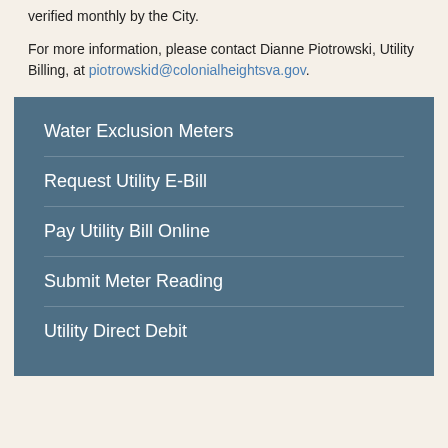random selection of all meters receiving a credit will be verified monthly by the City.
For more information, please contact Dianne Piotrowski, Utility Billing, at piotrowskid@colonialheightsva.gov.
Water Exclusion Meters
Request Utility E-Bill
Pay Utility Bill Online
Submit Meter Reading
Utility Direct Debit